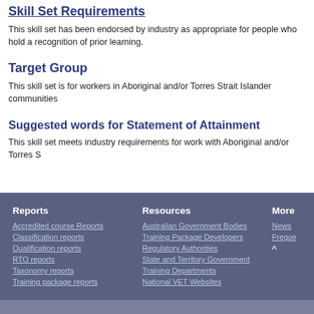Skill Set Requirements
This skill set has been endorsed by industry as appropriate for people who hold a recognition of prior learning.
Target Group
This skill set is for workers in Aboriginal and/or Torres Strait Islander communities
Suggested words for Statement of Attainment
This skill set meets industry requirements for work with Aboriginal and/or Torres S
Reports | Resources | More
Accredited course Reports
Classification reports
Qualification reports
RTO reports
Taxonomy reports
Training package reports
Australian Government Bodies
Training Package Developers
Regulatory Authorities
State and Territory Government
Training Departments
National VET Websites
News
Freque
^